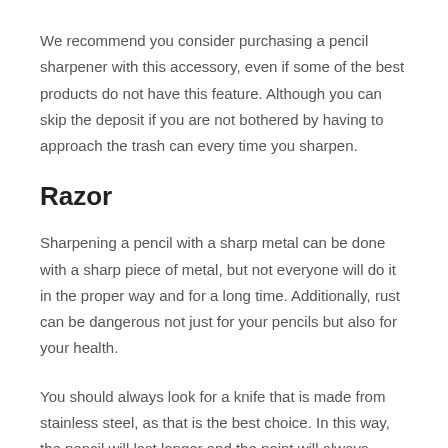We recommend you consider purchasing a pencil sharpener with this accessory, even if some of the best products do not have this feature. Although you can skip the deposit if you are not bothered by having to approach the trash can every time you sharpen.
Razor
Sharpening a pencil with a sharp metal can be done with a sharp piece of metal, but not everyone will do it in the proper way and for a long time. Additionally, rust can be dangerous not just for your pencils but also for your health.
You should always look for a knife that is made from stainless steel, as that is the best choice. In this way, the pencil will last longer and the point will always come out sharp rather than having to struggle through a number of broken tips before getting one that works. The pencil will also last longer and it's material will be less